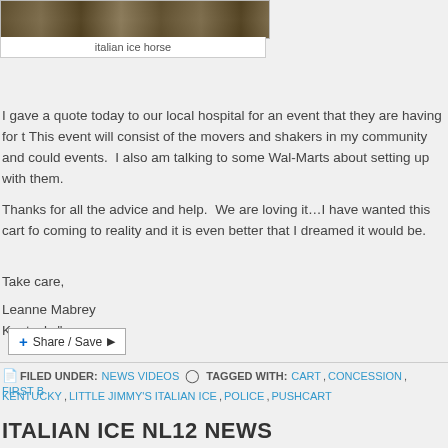[Figure (photo): Photo of an italian ice horse cart in outdoor setting]
italian ice horse
I gave a quote today to our local hospital for an event that they are having for t This event will consist of the movers and shakers in my community and could events.  I also am talking to some Wal-Marts about setting up with them.
Thanks for all the advice and help.  We are loving it…I have wanted this cart fo coming to reality and it is even better that I dreamed it would be.
Take care,
Leanne Mabrey
Kentucky"
[Figure (other): Share / Save button widget]
FILED UNDER: NEWS VIDEOS   TAGGED WITH: CART, CONCESSION, FIRST B KENTUCKY, LITTLE JIMMY'S ITALIAN ICE, POLICE, PUSHCART
ITALIAN ICE NL12 NEWS